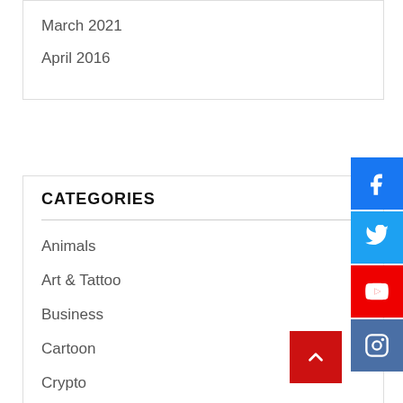March 2021
April 2016
CATEGORIES
Animals
Art & Tattoo
Business
Cartoon
Crypto
Culture